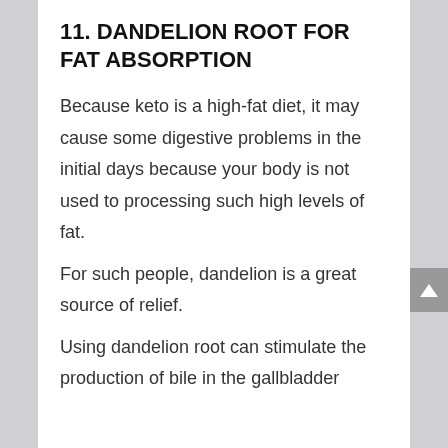11. DANDELION ROOT FOR FAT ABSORPTION
Because keto is a high-fat diet, it may cause some digestive problems in the initial days because your body is not used to processing such high levels of fat.
For such people, dandelion is a great source of relief.
Using dandelion root can stimulate the production of bile in the gallbladder